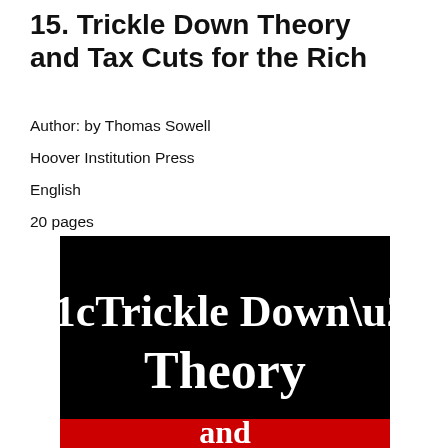15. Trickle Down Theory and Tax Cuts for the Rich
Author: by Thomas Sowell
Hoover Institution Press
English
20 pages
[Figure (illustration): Book cover with black background showing the title '“Trickle Down” Theory' in large white serif text and the word 'and' in white on a red stripe at the bottom.]